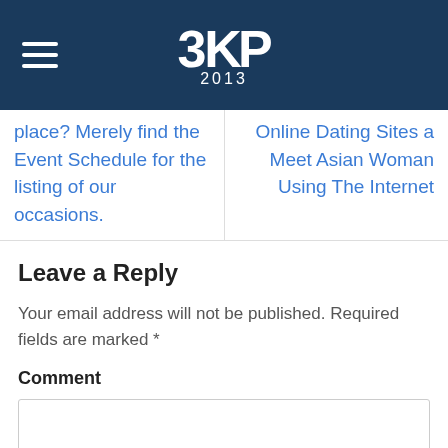3KP 2013
place? Merely find the Event Schedule for the listing of our occasions.
Online Dating Sites a Meet Asian Woman Using The Internet
Leave a Reply
Your email address will not be published. Required fields are marked *
Comment